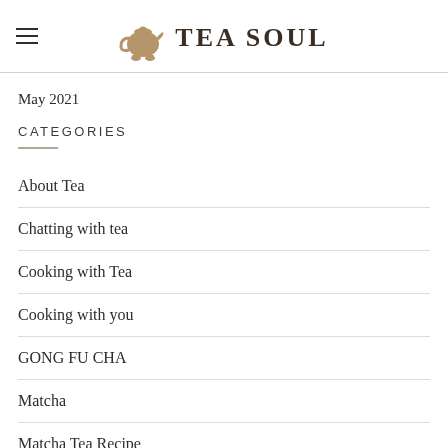Tea Soul
May 2021
CATEGORIES
About Tea
Chatting with tea
Cooking with Tea
Cooking with you
GONG FU CHA
Matcha
Matcha Tea Recipe